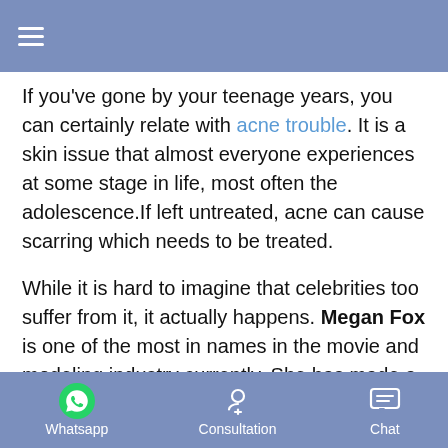≡
If you've gone by your teenage years, you can certainly relate with acne trouble. It is a skin issue that almost everyone experiences at some stage in life, most often the adolescence.If left untreated, acne can cause scarring which needs to be treated.
While it is hard to imagine that celebrities too suffer from it, it actually happens. Megan Fox is one of the most in names in the movie and modeling industry currently. She has made a name for herself through the Transformers movie franchise.
The 29-year-old mother of two too has gone through acne troubles in her past. However, few people know that Megan
Whatsapp  Consultation  Chat